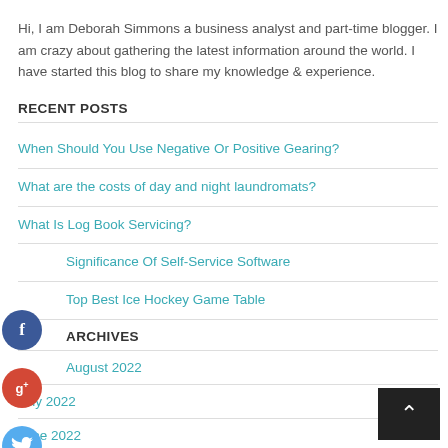Hi, I am Deborah Simmons a business analyst and part-time blogger. I am crazy about gathering the latest information around the world. I have started this blog to share my knowledge & experience.
RECENT POSTS
When Should You Use Negative Or Positive Gearing?
What are the costs of day and night laundromats?
What Is Log Book Servicing?
Significance Of Self-Service Software
Top Best Ice Hockey Game Table
ARCHIVES
August 2022
July 2022
June 2022